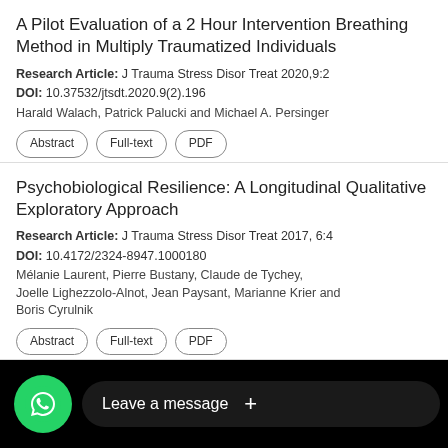A Pilot Evaluation of a 2 Hour Intervention Breathing Method in Multiply Traumatized Individuals
Research Article: J Trauma Stress Disor Treat 2020,9:2
DOI: 10.37532/jtsdt.2020.9(2).196
Harald Walach, Patrick Palucki and Michael A. Persinger
Psychobiological Resilience: A Longitudinal Qualitative Exploratory Approach
Research Article: J Trauma Stress Disor Treat 2017, 6:4
DOI: 10.4172/2324-8947.1000180
Mélanie Laurent, Pierre Bustany, Claude de Tychey, Joelle Lighezzolo-Alnot, Jean Paysant, Marianne Krier and Boris Cyrulnik
ecutive Functioning in Children ... epression and Au...
[Figure (other): WhatsApp chat widget overlay at bottom of screen with green WhatsApp icon and 'Leave a message +' button on dark background]